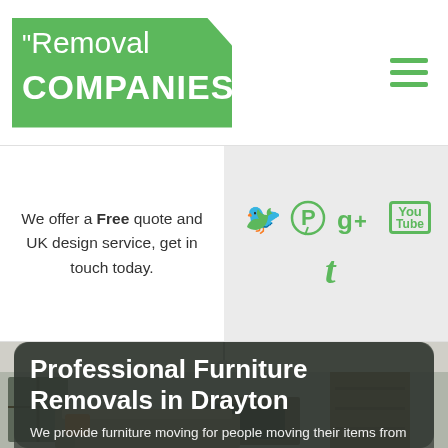[Figure (logo): Removal Companies logo — green banner shape with white text 'Removal COMPANIES']
[Figure (infographic): Hamburger menu icon — three green horizontal bars]
We offer a Free quote and UK design service, get in touch today.
[Figure (infographic): Social media icons in green: Twitter bird, Pinterest P, Google+ g+, YouTube box, Tumblr t]
[Figure (photo): Hero image of a modern living room interior with dark overlay and rounded top corners]
Professional Furniture Removals in Drayton
We provide furniture moving for people moving their items from house to house within the UK